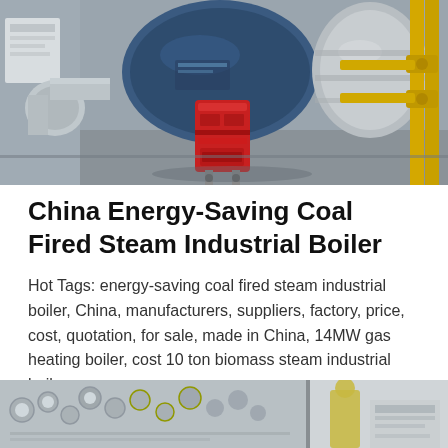[Figure (photo): Industrial boiler room showing large blue cylindrical boiler with red burner unit in center, silver metal piping on the left, and yellow gas pipes on the right, inside a factory/industrial facility.]
China Energy-Saving Coal Fired Steam Industrial Boiler
Hot Tags: energy-saving coal fired steam industrial boiler, China, manufacturers, suppliers, factory, price, cost, quotation, for sale, made in China, 14MW gas heating boiler, cost 10 ton biomass steam industrial boiler,...
[Figure (photo): Partial view of industrial boiler equipment, showing machinery components in a factory setting with a worker visible on the right side.]